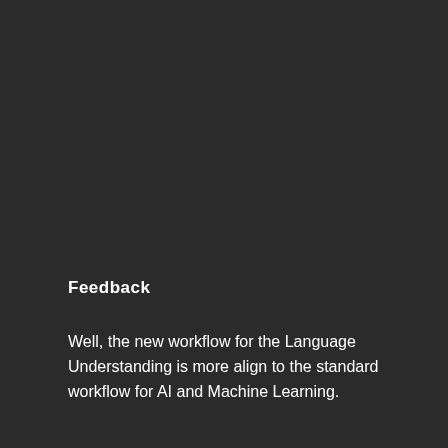Feedback
Well, the new workflow for the Language Understanding is more align to the standard workflow for AI and Machine Learning.